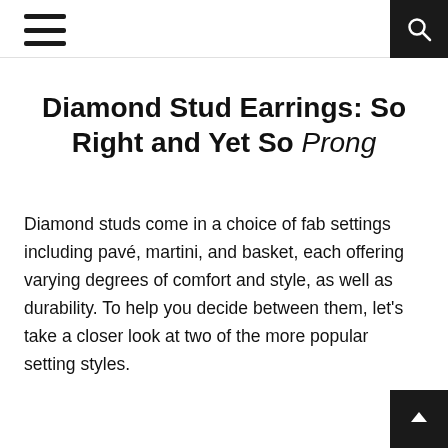Navigation header with hamburger menu and search button
Diamond Stud Earrings: So Right and Yet So Prong
Diamond studs come in a choice of fab settings including pavé, martini, and basket, each offering varying degrees of comfort and style, as well as durability. To help you decide between them, let's take a closer look at two of the more popular setting styles.